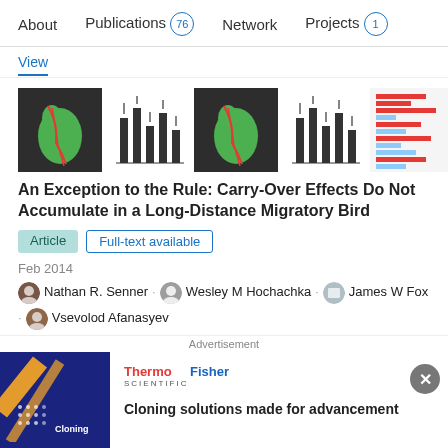About  Publications 76  Network  Projects 1
View
[Figure (screenshot): Five thumbnail images from the paper: maps showing bird migration routes over South America in red on green/dark background, bar charts with error bars, and a red-blue horizontal bar chart.]
An Exception to the Rule: Carry-Over Effects Do Not Accumulate in a Long-Distance Migratory Bird
Article  Full-text available
Feb 2014
Nathan R. Senner · Wesley M Hochachka · James W Fox · Vsevolod Afanasyev
Advertisement
[Figure (logo): ThermoFisher Scientific logo in red and blue text]
Cloning solutions made for advancement